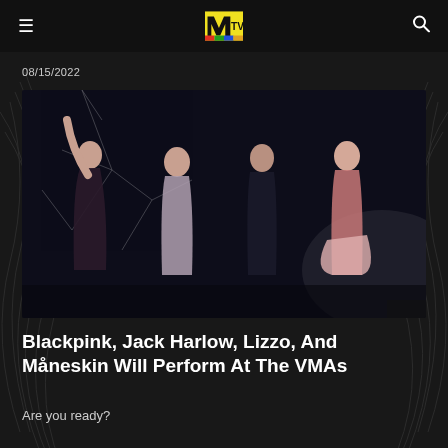MTV
08/15/2022
[Figure (photo): Four members of Blackpink posing in stylized performance outfits against a dark background with shattered glass effects]
Blackpink, Jack Harlow, Lizzo, And Måneskin Will Perform At The VMAs
Are you ready?